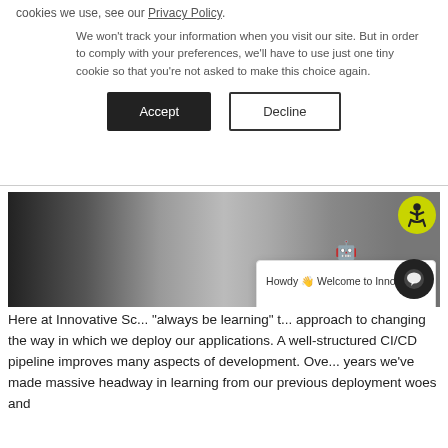cookies we use, see our Privacy Policy.
We won't track your information when you visit our site. But in order to comply with your preferences, we'll have to use just one tiny cookie so that you're not asked to make this choice again.
[Figure (screenshot): Accept and Decline buttons for cookie consent]
[Figure (photo): Hero image showing group of smiling professionals with accessibility icon overlay and chat popup widget showing robot icon and text 'Howdy Welcome to Innovative!']
Here at Innovative Sc... "always be learning" t... approach to changing the way in which we deploy our applications. A well-structured CI/CD pipeline improves many aspects of development. Ove... years we've made massive headway in learning from our previous deployment woes and